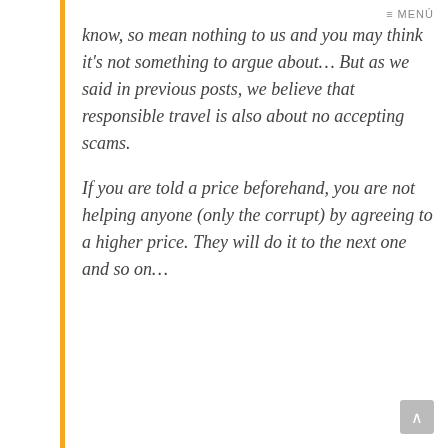≡ MENÚ
know, so mean nothing to us and you may think it's not something to argue about… But as we said in previous posts, we believe that responsible travel is also about no accepting scams.
If you are told a price beforehand, you are not helping anyone (only the corrupt) by agreeing to a higher price. They will do it to the next one and so on…